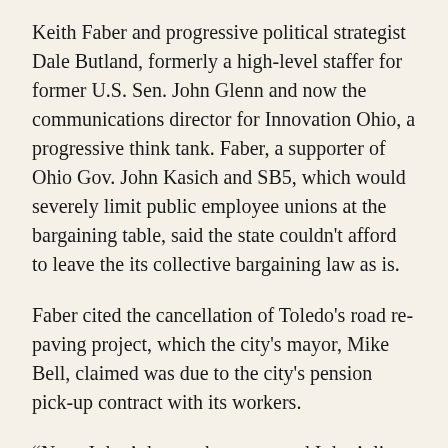Keith Faber and progressive political strategist Dale Butland, formerly a high-level staffer for former U.S. Sen. John Glenn and now the communications director for Innovation Ohio, a progressive think tank. Faber, a supporter of Ohio Gov. John Kasich and SB5, which would severely limit public employee unions at the bargaining table, said the state couldn't afford to leave the its collective bargaining law as is.
Faber cited the cancellation of Toledo's road re-paving project, which the city's mayor, Mike Bell, claimed was due to the city's pension pick-up contract with its workers.
“Now, I don’t know about you and I don’t live in Toledo, but if I had a choice of paying all the share of pension for city workers so they didn’t have to pay,